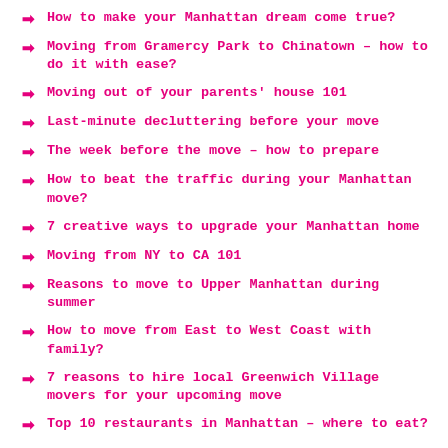How to make your Manhattan dream come true?
Moving from Gramercy Park to Chinatown – how to do it with ease?
Moving out of your parents' house 101
Last-minute decluttering before your move
The week before the move – how to prepare
How to beat the traffic during your Manhattan move?
7 creative ways to upgrade your Manhattan home
Moving from NY to CA 101
Reasons to move to Upper Manhattan during summer
How to move from East to West Coast with family?
7 reasons to hire local Greenwich Village movers for your upcoming move
Top 10 restaurants in Manhattan – where to eat?